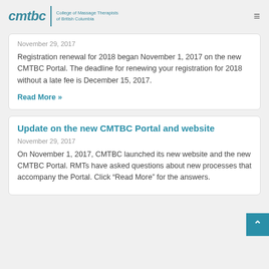cmtbc | College of Massage Therapists of British Columbia
November 29, 2017
Registration renewal for 2018 began November 1, 2017 on the new CMTBC Portal. The deadline for renewing your registration for 2018 without a late fee is December 15, 2017.
Read More »
Update on the new CMTBC Portal and website
November 29, 2017
On November 1, 2017, CMTBC launched its new website and the new CMTBC Portal. RMTs have asked questions about new processes that accompany the Portal. Click “Read More” for the answers.